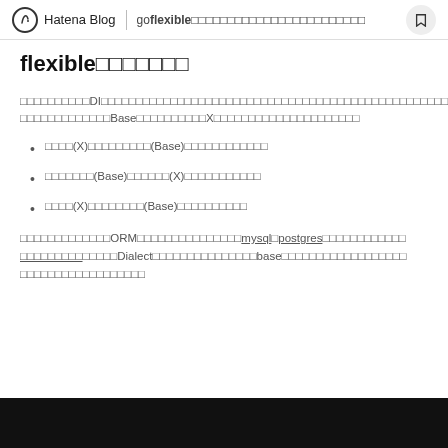Hatena Blog | go flexible…
flexible□□□□□□□
□□□□□□□□□□DI□□□□□□□□□□□□□□□□□□□□□□□□□□□□□□□□□□□□□□□□□□□□□□□□□□□□□□□□□□□□□□□Base□□□□□□□□□□X□□□□□□□□□□□□□□□□□□□□□
□□□□(X)□□□□□□□□□(Base)□□□□□□□□□□□□
□□□□□□□(Base)□□□□□□(X)□□□□□□□□□□□
□□□□(X)□□□□□□□□(Base)□□□□□□□□□□
□□□□□□□□□□□□□ORM□□□□□□□□□□□□□□□mysql□postgres□□□□□□□□□□□□□□□□□□□□□□□□Dialect□□□□□□□□□□□□□□□base□□□□□□□□□□□□□□□□□□□□□□□□□□□□□□□□□□□